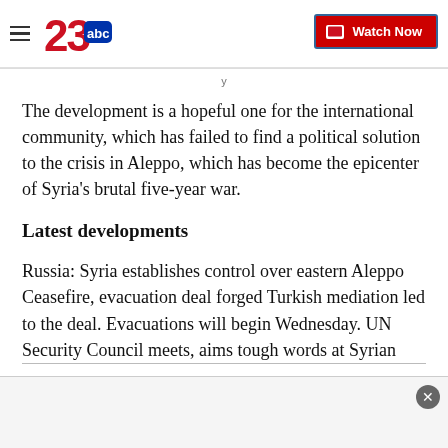23abc — Watch Now
The development is a hopeful one for the international community, which has failed to find a political solution to the crisis in Aleppo, which has become the epicenter of Syria's brutal five-year war.
Latest developments
Russia: Syria establishes control over eastern Aleppo Ceasefire, evacuation deal forged Turkish mediation led to the deal. Evacuations will begin Wednesday. UN Security Council meets, aims tough words at Syrian...